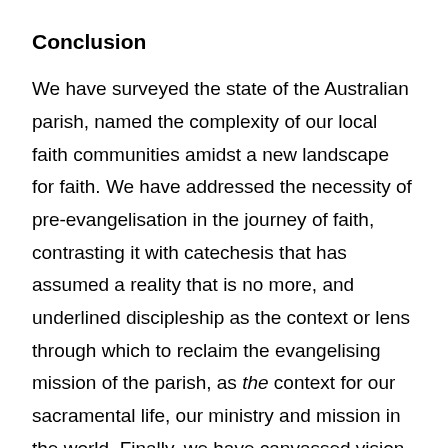Conclusion
We have surveyed the state of the Australian parish, named the complexity of our local faith communities amidst a new landscape for faith. We have addressed the necessity of pre-evangelisation in the journey of faith, contrasting it with catechesis that has assumed a reality that is no more, and underlined discipleship as the context or lens through which to reclaim the evangelising mission of the parish, as the context for our sacramental life, our ministry and mission in the world. Finally, we have canvassed vision as critical to the revitalisation of the Church communities for mission, setting forth a definite purpose for our local communities with which people can engage.
Each of these elements contains implications for the